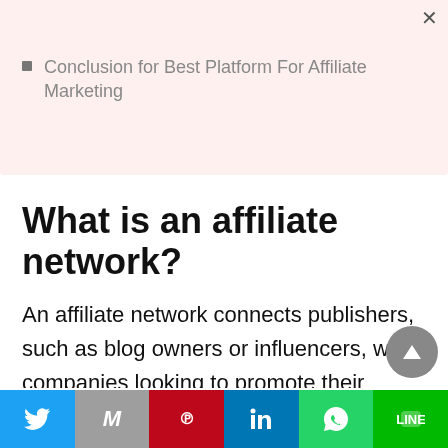Conclusion for Best Platform For Affiliate Marketing
What is an affiliate network?
An affiliate network connects publishers, such as blog owners or influencers, with companies looking to promote their products or services. These networks often offer reporting tools, training, and other resources to help you become a successful